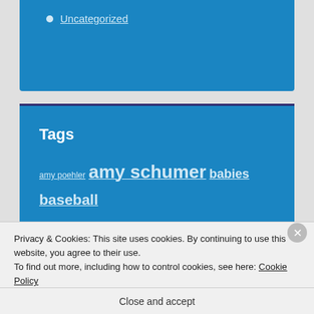Uncategorized
Tags
amy poehler amy schumer babies baseball birthday blogging books business candles change chicago cubs children chipless chocolate
Privacy & Cookies: This site uses cookies. By continuing to use this website, you agree to their use.
To find out more, including how to control cookies, see here: Cookie Policy
Close and accept